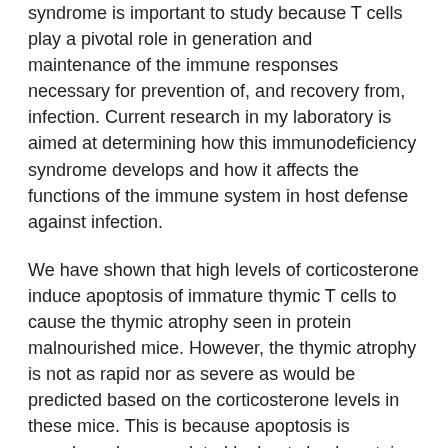syndrome is important to study because T cells play a pivotal role in generation and maintenance of the immune responses necessary for prevention of, and recovery from, infection. Current research in my laboratory is aimed at determining how this immunodeficiency syndrome develops and how it affects the functions of the immune system in host defense against infection.
We have shown that high levels of corticosterone induce apoptosis of immature thymic T cells to cause the thymic atrophy seen in protein malnourished mice. However, the thymic atrophy is not as rapid nor as severe as would be predicted based on the corticosterone levels in these mice. This is because apoptosis is somehow downregulated by heat shock proteins produced by these thymocytes in response to the stress of their protein deficiency. We are now investigating the mechanisms by which the heat shock proteins inhibit thymocyte apoptosis as well as the mechanisms by which corticosterone induces apoptosis in this system. These studies are facilitated